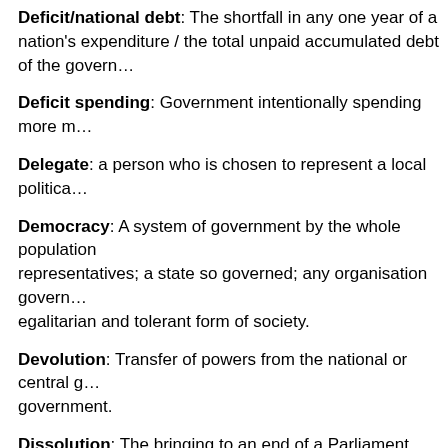Deficit/national debt: The shortfall in any one year of a nation's expenditure / the total unpaid accumulated debt of the govern…
Deficit spending: Government intentionally spending more m…
Delegate: a person who is chosen to represent a local politica…
Democracy: A system of government by the whole population representatives; a state so governed; any organisation govern… egalitarian and tolerant form of society.
Devolution: Transfer of powers from the national or central g… government.
Dissolution: The bringing to an end of a Parliament, either a… term or by proclamation of the Governor General. It is followe…
E
Electoral Roll (or Electoral List): The certified list of persons…
Electors: Those on an electoral roll and certified to vote in an…
Electorate: The collective name given to all the people who h…
Elections: Those are used to pick the people in charge of o…